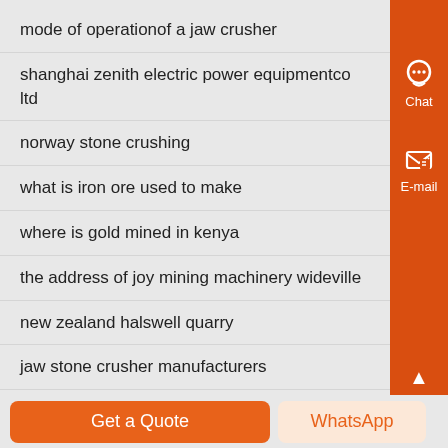mode of operationof a jaw crusher
shanghai zenith electric power equipmentco ltd
norway stone crushing
what is iron ore used to make
where is gold mined in kenya
the address of joy mining machinery wideville
new zealand halswell quarry
jaw stone crusher manufacturers
makita sanding wood machine